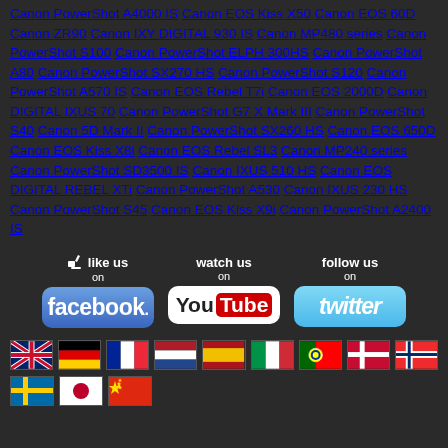Canon PowerShot A4000 IS Canon EOS Kiss X50 Canon EOS 60D Canon ZR90 Canon IXY DIGITAL 930 IS Canon MP480 series Canon PowerShot S100 Canon PowerShot ELPH 300HS Canon PowerShot A80 Canon PowerShot SX270 HS Canon PowerShot S120 Canon PowerShot A570 IS Canon EOS Rebel T7i Canon EOS 2000D Canon DIGITAL IXUS 70 Canon PowerShot G7 X Mark III Canon PowerShot S40 Canon 5D Mark II Canon PowerShot SX260 HS Canon EOS 650D Canon EOS Kiss X8i Canon EOS Rebel SL3 Canon MP240 series Canon PowerShot SD3500 IS Canon IXUS 510 HS Canon EOS DIGITAL REBEL XTi Canon PowerShot A530 Canon IXUS 230 HS Canon PowerShot S45 Canon EOS Kiss X9i Canon PowerShot A2400 IS
[Figure (infographic): Social media buttons: Like us on Facebook, Watch us on YouTube, Follow us on Twitter]
[Figure (infographic): Country flag icons: UK, Germany, France, Netherlands, Spain, Italy, Portugal, Denmark, Norway, Sweden, Japan, China]